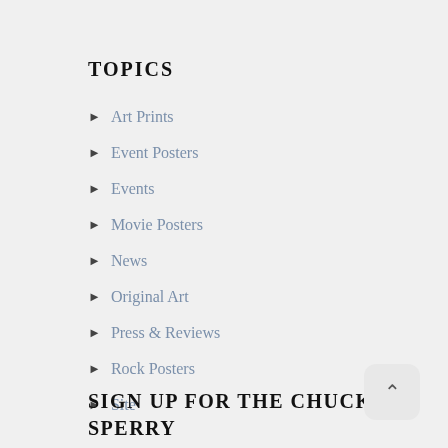TOPICS
Art Prints
Event Posters
Events
Movie Posters
News
Original Art
Press & Reviews
Rock Posters
Site
SIGN UP FOR THE CHUCK SPERRY NEWSLETTER